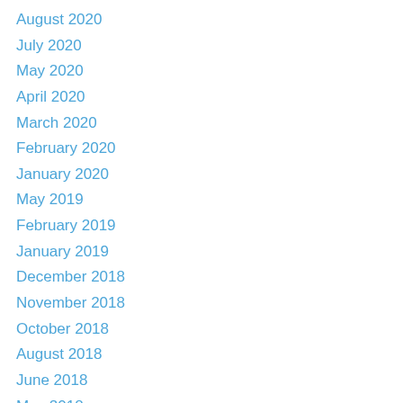August 2020
July 2020
May 2020
April 2020
March 2020
February 2020
January 2020
May 2019
February 2019
January 2019
December 2018
November 2018
October 2018
August 2018
June 2018
May 2018
April 2018
February 2018
November 2017
October 2017